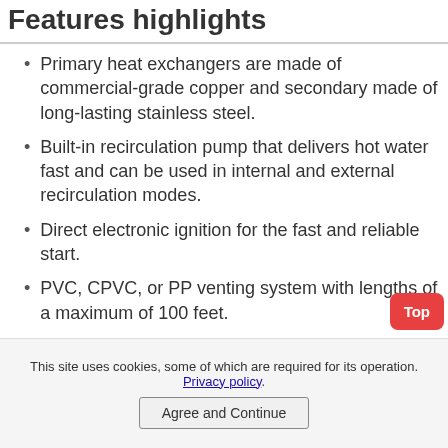Features highlights
Primary heat exchangers are made of commercial-grade copper and secondary made of long-lasting stainless steel.
Built-in recirculation pump that delivers hot water fast and can be used in internal and external recirculation modes.
Direct electronic ignition for the fast and reliable start.
PVC, CPVC, or PP venting system with lengths of a maximum of 100 feet.
Built-in remote control for easy temperature control and adjustment, including flow rate
This site uses cookies, some of which are required for its operation. Privacy policy.
Agree and Continue